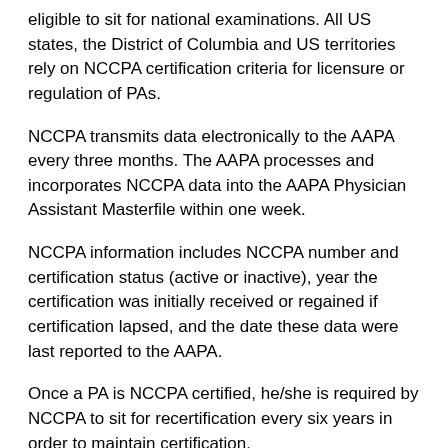eligible to sit for national examinations. All US states, the District of Columbia and US territories rely on NCCPA certification criteria for licensure or regulation of PAs.
NCCPA transmits data electronically to the AAPA every three months. The AAPA processes and incorporates NCCPA data into the AAPA Physician Assistant Masterfile within one week.
NCCPA information includes NCCPA number and certification status (active or inactive), year the certification was initially received or regained if certification lapsed, and the date these data were last reported to the AAPA.
Once a PA is NCCPA certified, he/she is required by NCCPA to sit for recertification every six years in order to maintain certification.
State Licensure